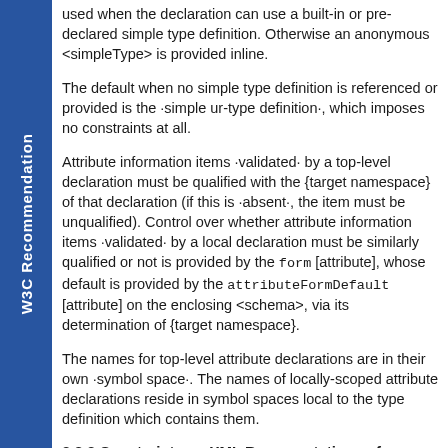W3C Recommendation
used when the declaration can use a built-in or pre-declared simple type definition. Otherwise an anonymous <simpleType> is provided inline.
The default when no simple type definition is referenced or provided is the ·simple ur-type definition·, which imposes no constraints at all.
Attribute information items ·validated· by a top-level declaration must be qualified with the {target namespace} of that declaration (if this is ·absent·, the item must be unqualified). Control over whether attribute information items ·validated· by a local declaration must be similarly qualified or not is provided by the form [attribute], whose default is provided by the attributeFormDefault [attribute] on the enclosing <schema>, via its determination of {target namespace}.
The names for top-level attribute declarations are in their own ·symbol space·. The names of locally-scoped attribute declarations reside in symbol spaces local to the type definition which contains them.
3.2.3 Constraints on XML Representations of